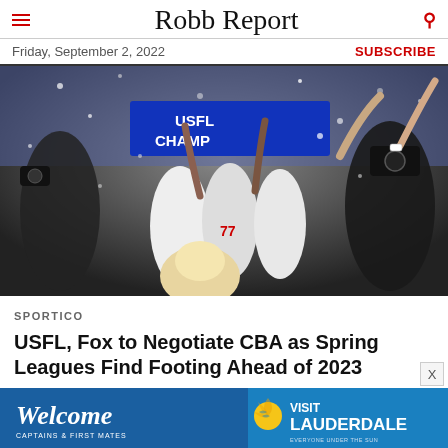Robb Report
Friday, September 2, 2022
SUBSCRIBE
[Figure (photo): Football players celebrating a USFL Championship win, surrounded by photographers and confetti, players wearing white jerseys including #77]
SPORTICO
USFL, Fox to Negotiate CBA as Spring Leagues Find Footing Ahead of 2023
[Figure (other): Advertisement banner: Welcome Captains & First Mates / Visit Lauderdale]